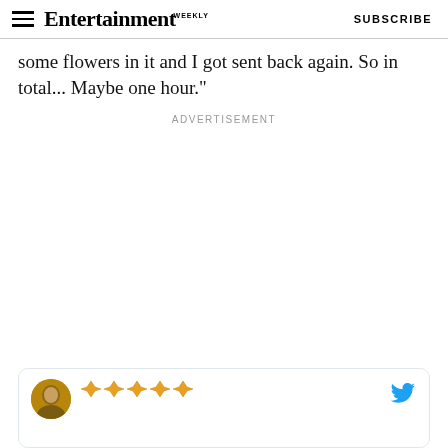Entertainment Weekly — SUBSCRIBE
some flowers in it and I got sent back again. So in total... Maybe one hour."
ADVERTISEMENT
[Figure (screenshot): Tweet card with a profile avatar photo, five gold diamond/gem emoji icons, and a Twitter bird icon on the right]